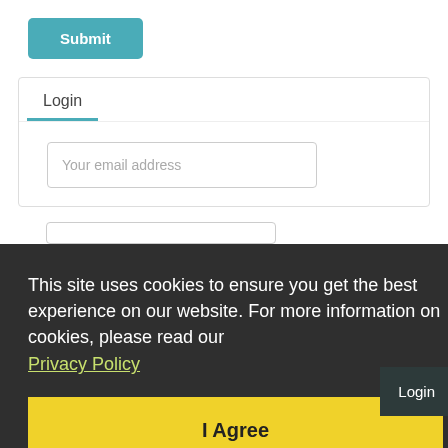[Figure (screenshot): A Submit button with teal/blue-green background and white bold text]
Login
[Figure (screenshot): Email address input field with placeholder text 'Your email address']
[Figure (screenshot): Cookie consent overlay banner with dark background containing cookie notice text, Privacy Policy link, and I Agree button]
This site uses cookies to ensure you get the best experience on our website. For more information on cookies, please read our
Privacy Policy
[Figure (screenshot): I Agree button with yellow background]
LIVE SUPPORT